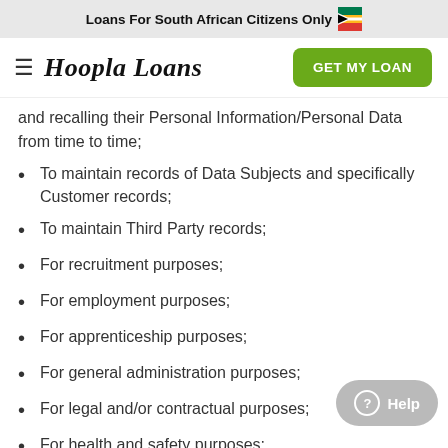Loans For South African Citizens Only 🇿🇦
Hoopla Loans | GET MY LOAN
and recalling their Personal Information/Personal Data from time to time;
To maintain records of Data Subjects and specifically Customer records;
To maintain Third Party records;
For recruitment purposes;
For employment purposes;
For apprenticeship purposes;
For general administration purposes;
For legal and/or contractual purposes;
For health and safety purposes;